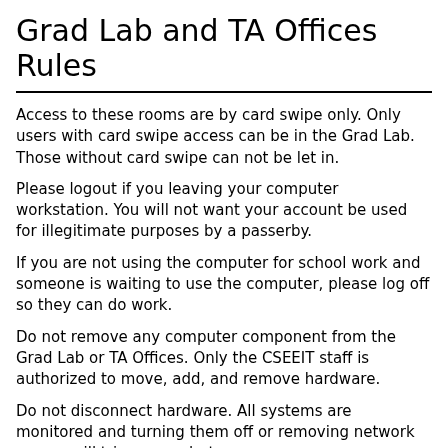Grad Lab and TA Offices Rules
Access to these rooms are by card swipe only. Only users with card swipe access can be in the Grad Lab. Those without card swipe can not be let in.
Please logout if you leaving your computer workstation. You will not want your account be used for illegitimate purposes by a passerby.
If you are not using the computer for school work and someone is waiting to use the computer, please log off so they can do work.
Do not remove any computer component from the Grad Lab or TA Offices. Only the CSEEIT staff is authorized to move, add, and remove hardware.
Do not disconnect hardware. All systems are monitored and turning them off or removing network access will trigger an alert.